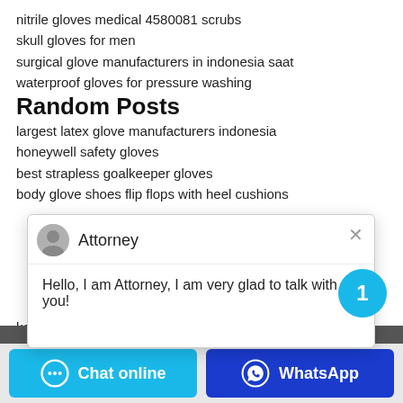nitrile gloves medical 4580081 scrubs
skull gloves for men
surgical glove manufacturers in indonesia saat
waterproof gloves for pressure washing
Random Posts
largest latex glove manufacturers indonesia
honeywell safety gloves
best strapless goalkeeper gloves
body glove shoes flip flops with heel cushions
[Figure (screenshot): Chat popup with Attorney avatar and greeting message: Hello, I am Attorney, I am very glad to talk with you!]
kelklave autoclave gloves
gloves latex promotion definition pdf
[Figure (infographic): Notification bubble with number 1 in cyan circle]
Chat online   WhatsApp